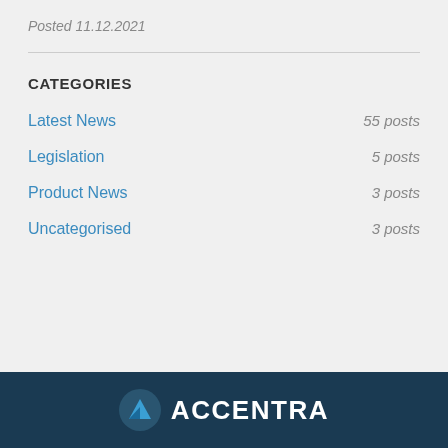Posted 11.12.2021
CATEGORIES
Latest News   55 posts
Legislation   5 posts
Product News   3 posts
Uncategorised   3 posts
[Figure (logo): Accentra logo with blue arrow icon and white text on dark blue background]